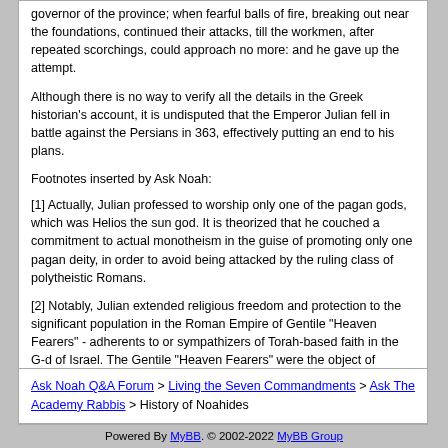governor of the province; when fearful balls of fire, breaking out near the foundations, continued their attacks, till the workmen, after repeated scorchings, could approach no more: and he gave up the attempt.
Although there is no way to verify all the details in the Greek historian's account, it is undisputed that the Emperor Julian fell in battle against the Persians in 363, effectively putting an end to his plans.
Footnotes inserted by Ask Noah:
[1] Actually, Julian professed to worship only one of the pagan gods, which was Helios the sun god. It is theorized that he couched a commitment to actual monotheism in the guise of promoting only one pagan deity, in order to avoid being attacked by the ruling class of polytheistic Romans.
[2] Notably, Julian extended religious freedom and protection to the significant population in the Roman Empire of Gentile "Heaven Fearers" - adherents to or sympathizers of Torah-based faith in the G-d of Israel. The Gentile "Heaven Fearers" were the object of derision by the ruling pagan Romans before and after Julian's short reign.
Ask Noah Q&A Forum > Living the Seven Commandments > Ask The Academy Rabbis > History of Noahides
Powered By MyBB. © 2002-2022 MyBB Group